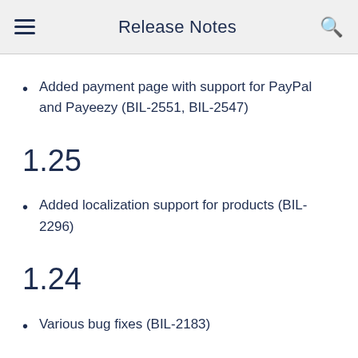Release Notes
Added payment page with support for PayPal and Payeezy (BIL-2551, BIL-2547)
1.25
Added localization support for products (BIL-2296)
1.24
Various bug fixes (BIL-2183)
1.23
Made compatible with JustOn release 2.42